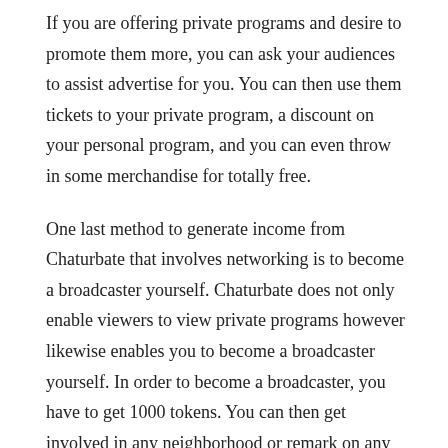If you are offering private programs and desire to promote them more, you can ask your audiences to assist advertise for you. You can then use them tickets to your private program, a discount on your personal program, and you can even throw in some merchandise for totally free.
One last method to generate income from Chaturbate that involves networking is to become a broadcaster yourself. Chaturbate does not only enable viewers to view private programs however likewise enables you to become a broadcaster yourself. In order to become a broadcaster, you have to get 1000 tokens. You can then get involved in any neighborhood or remark on any video published on Chaturbate as soon as you have 1000 tokens.
When you go to the Chaturbate site, you can click on “profile ” and then “link ”. You can visit the “tips ” tab on the top of your profile and click on “ web cam shows ”. When browsing through the list of readily available shows, you may want to discover some that